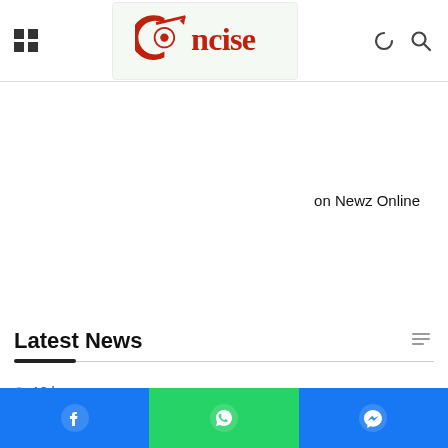Concise (logo) — navigation header with grid menu, moon icon, search icon
on Newz Online
Latest News
12 hours ago
[Figure (other): Social share bar with Facebook, WhatsApp, and Messenger buttons]